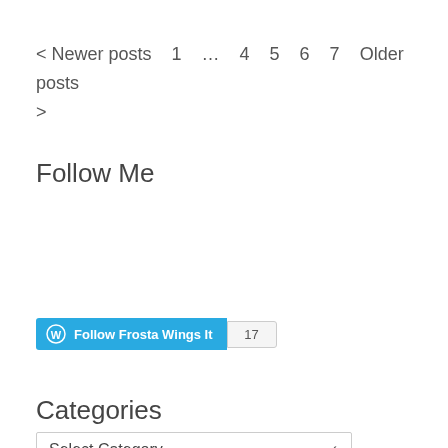< Newer posts   1   …   4   5   6   7   Older posts >
Follow Me
[Figure (other): WordPress Follow button: 'Follow Frosta Wings It' with blue background and WordPress logo, followed by a count badge showing 17]
Categories
Select Category
TBR